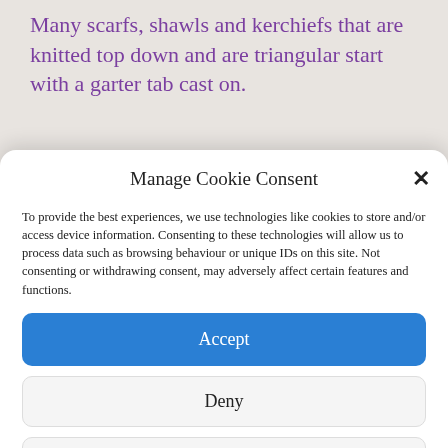Many scarfs, shawls and kerchiefs that are knitted top down and are triangular start with a garter tab cast on.
Manage Cookie Consent
To provide the best experiences, we use technologies like cookies to store and/or access device information. Consenting to these technologies will allow us to process data such as browsing behaviour or unique IDs on this site. Not consenting or withdrawing consent, may adversely affect certain features and functions.
Accept
Deny
View preferences
Cookie Policy   About Dizzy Tyke